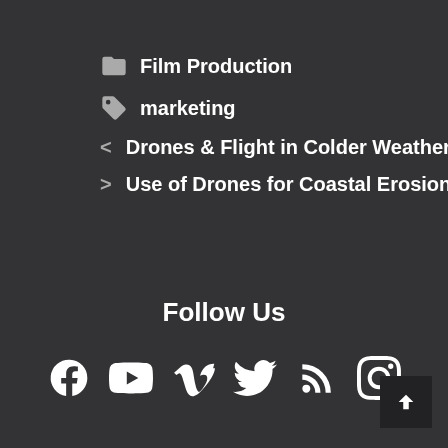Film Production
marketing
Drones & Flight in Colder Weather
Use of Drones for Coastal Erosion
Follow Us
[Figure (infographic): Social media icons: Facebook, YouTube, Vimeo, Twitter, RSS, Instagram]